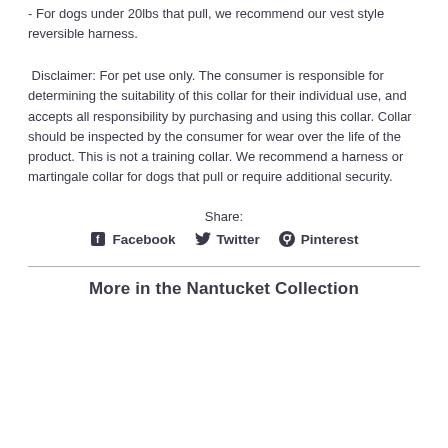- For dogs under 20lbs that pull, we recommend our vest style reversible harness.
Disclaimer: For pet use only. The consumer is responsible for determining the suitability of this collar for their individual use, and accepts all responsibility by purchasing and using this collar. Collar should be inspected by the consumer for wear over the life of the product. This is not a training collar. We recommend a harness or martingale collar for dogs that pull or require additional security.
Share:
Facebook  Twitter  Pinterest
More in the Nantucket Collection